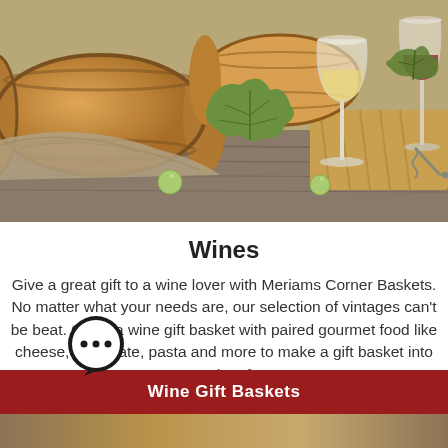[Figure (photo): Wine barrels lying on their side with a wine glass filled with white wine, grape leaves, green grapes, and a corkscrew on a wooden surface with burlap cloth]
Wines
Give a great gift to a wine lover with Meriams Corner Baskets. No matter what your needs are, our selection of vintages can't be beat. Order a wine gift basket with paired gourmet food like cheese, chocolate, pasta and more to make a gift basket into a succulent feast.
Wine Gift Baskets